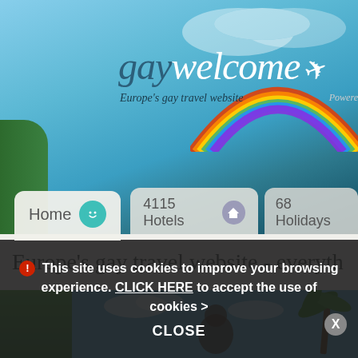[Figure (screenshot): Website screenshot of gaywelcome.com — Europe's gay travel website. Shows hero banner with blue sky background and rainbow arc, navigation tabs (Home, 4115 Hotels, 68 Holidays), page title 'Europe's gay travel website - everyth...', a photo strip, and a cookie consent banner at the bottom.]
gaywelcome ✈
Europe's gay travel website
Powere
Home
4115 Hotels
68 Holidays
Europe's gay travel website - everyth
⓵ This site uses cookies to improve your browsing experience. CLICK HERE to accept the use of cookies > CLOSE